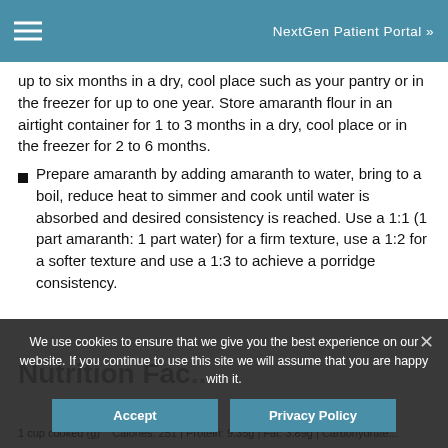NextGen Patient Portal »
up to six months in a dry, cool place such as your pantry or in the freezer for up to one year. Store amaranth flour in an airtight container for 1 to 3 months in a dry, cool place or in the freezer for 2 to 6 months.
Prepare amaranth by adding amaranth to water, bring to a boil, reduce heat to simmer and cook until water is absorbed and desired consistency is reached. Use a 1:1 (1 part amaranth: 1 part water) for a firm texture, use a 1:2 for a softer texture and use a 1:3 to achieve a porridge consistency.
Nutrition Fac...
1 cup cooked (g)...
Calories: 251 | Protein: 9.35g | Fat: 3.89g | Carbohydrate...
We use cookies to ensure that we give you the best experience on our website. If you continue to use this site we will assume that you are happy with it.